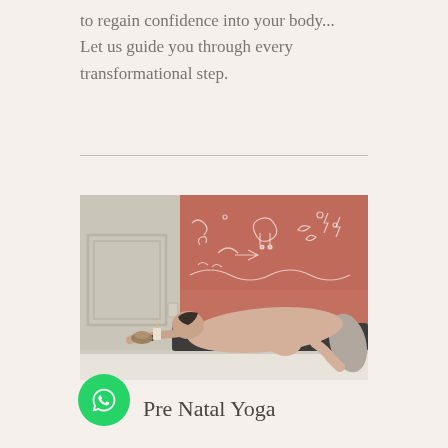to regain confidence into your body... Let us guide you through every transformational step.
[Figure (photo): A pregnant woman lying on a yoga mat in a side resting pose, with a singing bowl and candle nearby. Background features a terracotta-colored board with white chalk anatomical and symbolic drawings. Room has light grey walls with panel molding.]
Pre Natal Yoga